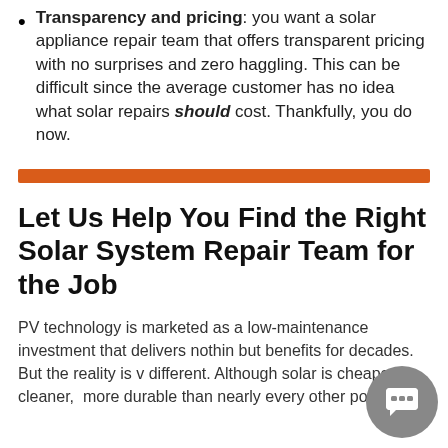Transparency and pricing: you want a solar appliance repair team that offers transparent pricing with no surprises and zero haggling. This can be difficult since the average customer has no idea what solar repairs should cost. Thankfully, you do now.
Let Us Help You Find the Right Solar System Repair Team for the Job
PV technology is marketed as a low-maintenance investment that delivers nothing but benefits for decades. But the reality is very different. Although solar is cheaper, cleaner, and more durable than nearly every other power